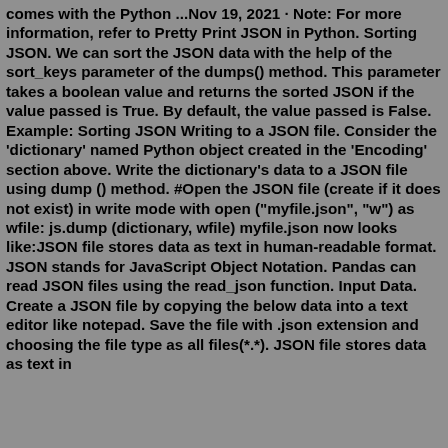comes with the Python ...Nov 19, 2021 · Note: For more information, refer to Pretty Print JSON in Python. Sorting JSON. We can sort the JSON data with the help of the sort_keys parameter of the dumps() method. This parameter takes a boolean value and returns the sorted JSON if the value passed is True. By default, the value passed is False. Example: Sorting JSON Writing to a JSON file. Consider the 'dictionary' named Python object created in the 'Encoding' section above. Write the dictionary's data to a JSON file using dump () method. #Open the JSON file (create if it does not exist) in write mode with open ("myfile.json", "w") as wfile: js.dump (dictionary, wfile) myfile.json now looks like:JSON file stores data as text in human-readable format. JSON stands for JavaScript Object Notation. Pandas can read JSON files using the read_json function. Input Data. Create a JSON file by copying the below data into a text editor like notepad. Save the file with .json extension and choosing the file type as all files(*.*). JSON file stores data as text in